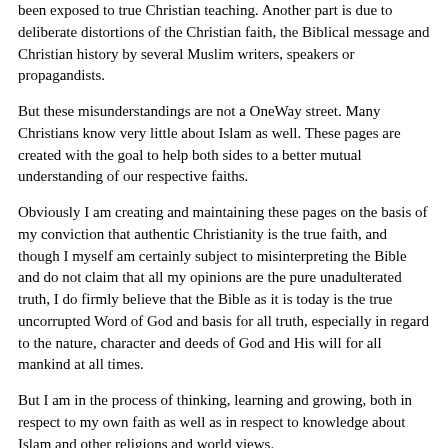been exposed to true Christian teaching. Another part is due to deliberate distortions of the Christian faith, the Biblical message and Christian history by several Muslim writers, speakers or propagandists.
But these misunderstandings are not a OneWay street. Many Christians know very little about Islam as well. These pages are created with the goal to help both sides to a better mutual understanding of our respective faiths.
Obviously I am creating and maintaining these pages on the basis of my conviction that authentic Christianity is the true faith, and though I myself am certainly subject to misinterpreting the Bible and do not claim that all my opinions are the pure unadulterated truth, I do firmly believe that the Bible as it is today is the true uncorrupted Word of God and basis for all truth, especially in regard to the nature, character and deeds of God and His will for all mankind at all times.
But I am in the process of thinking, learning and growing, both in respect to my own faith as well as in respect to knowledge about Islam and other religions and world views.
My pages will contain mainly an attempt to clearly answer the questions, claims, and challenges that are posed to Christians by Muslims. They will also make some positive statements about the